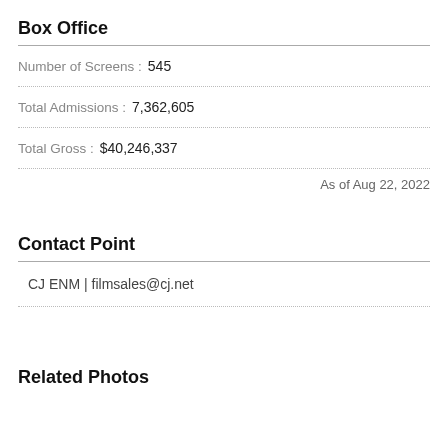Box Office
Number of Screens : 545
Total Admissions : 7,362,605
Total Gross : $40,246,337
As of Aug 22, 2022
Contact Point
CJ ENM | filmsales@cj.net
Related Photos